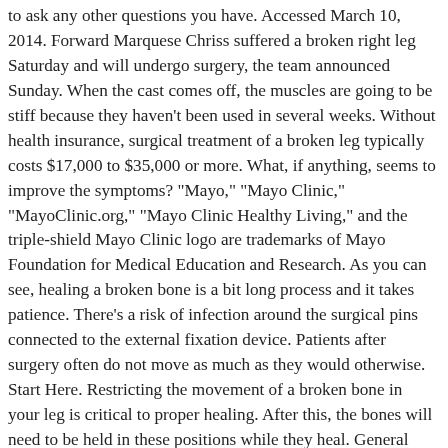to ask any other questions you have. Accessed March 10, 2014. Forward Marquese Chriss suffered a broken right leg Saturday and will undergo surgery, the team announced Sunday. When the cast comes off, the muscles are going to be stiff because they haven't been used in several weeks. Without health insurance, surgical treatment of a broken leg typically costs $17,000 to $35,000 or more. What, if anything, seems to improve the symptoms? "Mayo," "Mayo Clinic," "MayoClinic.org," "Mayo Clinic Healthy Living," and the triple-shield Mayo Clinic logo are trademarks of Mayo Foundation for Medical Education and Research. As you can see, healing a broken bone is a bit long process and it takes patience. There's a risk of infection around the surgical pins connected to the external fixation device. Patients after surgery often do not move as much as they would otherwise. Start Here. Restricting the movement of a broken bone in your leg is critical to proper healing. After this, the bones will need to be held in these positions while they heal. General principles of fracture management: Fracture patterns and